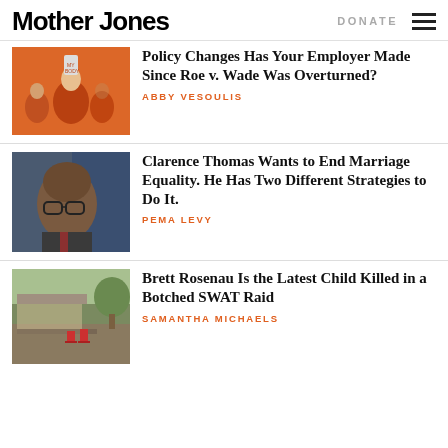Mother Jones | DONATE
[Figure (photo): Protest photo with orange tint, person holding sign]
Policy Changes Has Your Employer Made Since Roe v. Wade Was Overturned?
ABBY VESOULIS
[Figure (photo): Portrait of Clarence Thomas in front of blue background]
Clarence Thomas Wants to End Marriage Equality. He Has Two Different Strategies to Do It.
PEMA LEVY
[Figure (photo): Damaged home exterior with debris and red chairs]
Brett Rosenau Is the Latest Child Killed in a Botched SWAT Raid
SAMANTHA MICHAELS